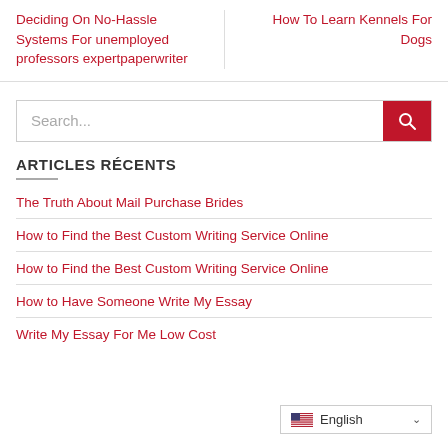Deciding On No-Hassle Systems For unemployed professors expertpaperwriter
How To Learn Kennels For Dogs
[Figure (other): Search bar with red search button]
ARTICLES RÉCENTS
The Truth About Mail Purchase Brides
How to Find the Best Custom Writing Service Online
How to Find the Best Custom Writing Service Online
How to Have Someone Write My Essay
Write My Essay For Me Low Cost
English